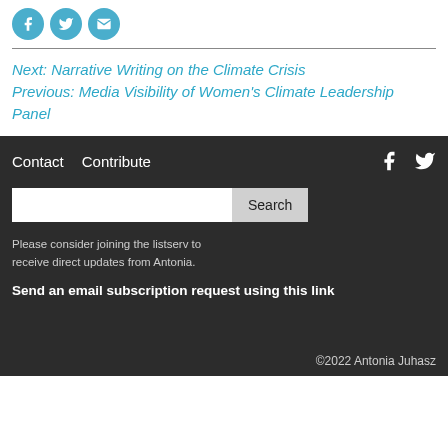[Figure (illustration): Three circular social media icons (Facebook, Twitter, Email) in teal/blue color]
Next: Narrative Writing on the Climate Crisis
Previous: Media Visibility of Women's Climate Leadership Panel
Contact   Contribute
[Figure (illustration): Facebook and Twitter icons in white on dark background]
Search
Please consider joining the listserv to receive direct updates from Antonia.
Send an email subscription request using this link
©2022 Antonia Juhasz